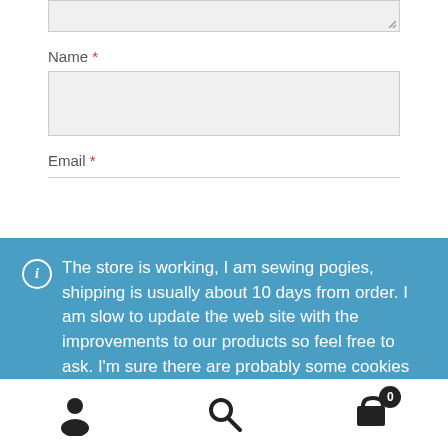[textarea top portion visible]
Name *
[Figure (screenshot): Name input field (empty, light gray background)]
Email *
ℹ The store is working, I am sewing pogies, shipping is usually about 10 days from order. I am slow to update the web site with the improvements to our products so feel free to ask. I'm sure there are probably some cookies on here that I should warn you about, but I don't know how to access them and dominate the world.
Dismiss
[Figure (infographic): Bottom navigation bar with user/account icon, search icon, and shopping cart icon with badge showing 0]